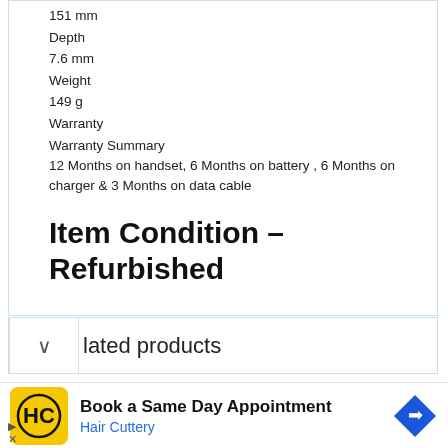151 mm
Depth
7.6 mm
Weight
149 g
Warranty
Warranty Summary
12 Months on handset, 6 Months on battery , 6 Months on charger & 3 Months on data cable
Item Condition – Refurbished
lated products
Book a Same Day Appointment Hair Cuttery